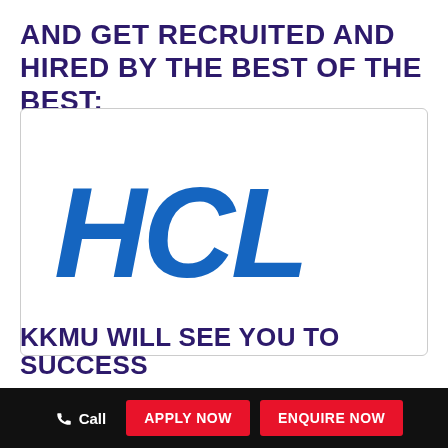AND GET RECRUITED AND HIRED BY THE BEST OF THE BEST:
[Figure (logo): HCL company logo in bold blue italic text on white background inside a rounded rectangle border]
KKMU WILL SEE YOU TO SUCCESS
Call   APPLY NOW   ENQUIRE NOW